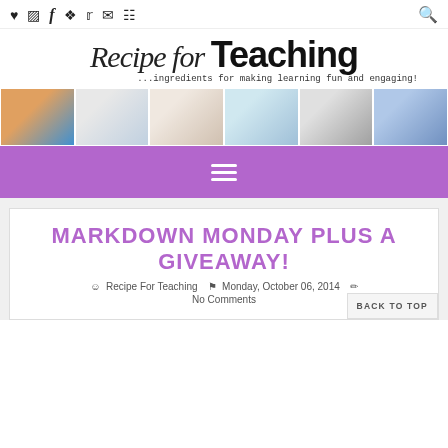♥ [instagram] f [pinterest] [twitter] [email] [cart] [search]
Recipe for Teaching ...ingredients for making learning fun and engaging!
[Figure (photo): Six photographs showing classroom activities: child with tablet, student with manipulatives, student doing worksheet, student tracing, student with keys, child at word wall]
≡ (hamburger menu)
MARKDOWN MONDAY PLUS A GIVEAWAY!
Recipe For Teaching  |  Monday, October 06, 2014  |  No Comments